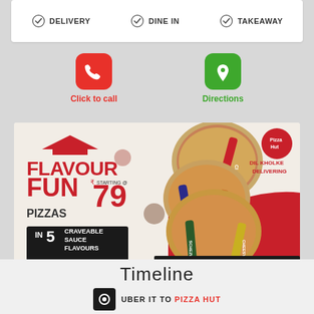DELIVERY   DINE IN   TAKEAWAY
Click to call
Directions
[Figure (photo): Pizza Hut Flavour Fun Pizzas advertisement banner showing pizzas labeled Classic, Italian, Tandoori, Schezwan, Cheesy - starting at 79, in 5 craveable sauce flavours. ORDER NOW | WALK IN. Dil Kholke Delivering.]
Timeline
UBER IT TO PIZZA HUT